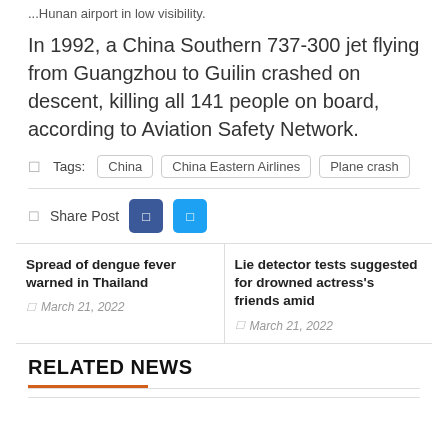...Hunan airport in low visibility.
In 1992, a China Southern 737-300 jet flying from Guangzhou to Guilin crashed on descent, killing all 141 people on board, according to Aviation Safety Network.
Tags: China  China Eastern Airlines  Plane crash
Share Post
Spread of dengue fever warned in Thailand
March 21, 2022
Lie detector tests suggested for drowned actress's friends amid
March 21, 2022
RELATED NEWS